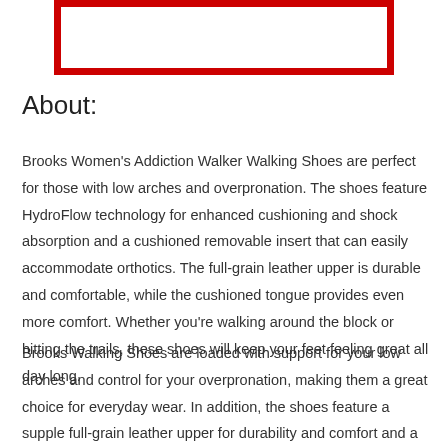[Figure (other): A rectangular image placeholder with a thick red border on a white background]
About:
Brooks Women's Addiction Walker Walking Shoes are perfect for those with low arches and overpronation. The shoes feature HydroFlow technology for enhanced cushioning and shock absorption and a cushioned removable insert that can easily accommodate orthotics. The full-grain leather upper is durable and comfortable, while the cushioned tongue provides even more comfort. Whether you're walking around the block or hitting the trails, these shoes will keep your feet feeling great all day long.
Brooks Walking Shoes are loaded with support for your low arches and control for your overpronation, making them a great choice for everyday wear. In addition, the shoes feature a supple full-grain leather upper for durability and comfort and a cushioned tongue that is partially sewn. The result is a shoe that feels great